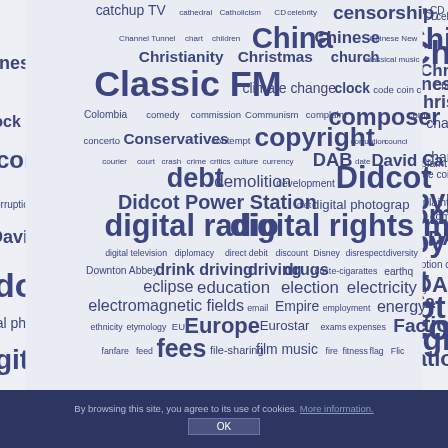[Figure (infographic): Word cloud featuring terms related to UK media, politics, culture, and technology. Key terms include: catchup TV, cathedral, Catholicism, CD, celebrity, censorship, Channel Tunnel, chart, children, China, Chinese, Chinese New Year, Christianity, Christmas, church, classical music, Classic FM, climate change, clock, code, coin, Colombia, comedy, commission, Communism, complaint, composer, concerto, Conservatives, contempt, copyright, corruption, council, courier, court, crash, crime, critics, culture, currency, DAB, date, David Cameron, debt, demolition, development, Didcot, Didcot Power Station, diet, digital photography, digital radio, digital rights management, digital television, diplomacy, direct debit, discount, Disney, disrespect, diversity, Downton Abbey, drink driving, driving, drugs, dust, e-cigarettes, earthquake, eclipse, education, election, electricity, electromagnetic fields, email, Empire, employment, energy, ethnicity, etymology, EU, Europe, Eurostar, exams, expenses, Facebook, fanfare, feed, fees, file-sharing, film music, fire, fitness, flag, Flickr]
By browsing this site, you agree to its use of cookies. More information. OK